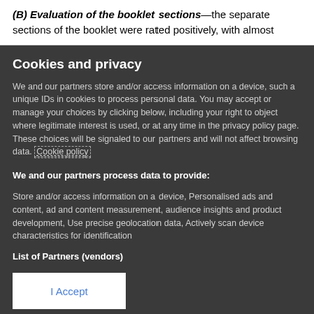(B) Evaluation of the booklet sections—the separate sections of the booklet were rated positively, with almost
Cookies and privacy
We and our partners store and/or access information on a device, such a unique IDs in cookies to process personal data. You may accept or manage your choices by clicking below, including your right to object where legitimate interest is used, or at any time in the privacy policy page. These choices will be signaled to our partners and will not affect browsing data. Cookie policy
We and our partners process data to provide:
Store and/or access information on a device, Personalised ads and content, ad and content measurement, audience insights and product development, Use precise geolocation data, Actively scan device characteristics for identification
List of Partners (vendors)
I Accept